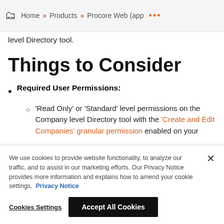Home » Products » Procore Web (app ···
policies, insurance certificates, and other supporting documentation from vendors who have Company records in the Company-level Directory tool.
Things to Consider
Required User Permissions:
'Read Only' or 'Standard' level permissions on the Company level Directory tool with the 'Create and Edit Companies' granular permission enabled on your
We use cookies to provide website functionality, to analyze our traffic, and to assist in our marketing efforts. Our Privacy Notice provides more information and explains how to amend your cookie settings. Privacy Notice
Cookies Settings | Accept All Cookies